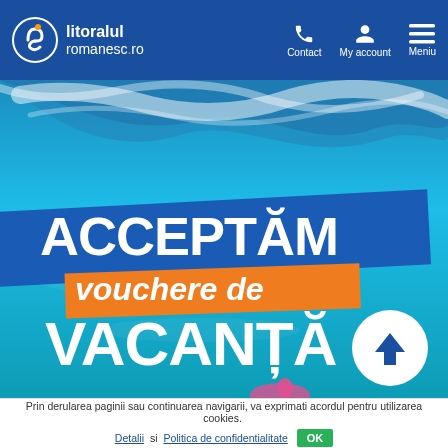litoralul romanesc.ro — Contact | My account | Meniu
[Figure (screenshot): Hero banner image: aerial view of turquoise ocean waves with promotional text overlay 'ACCEPTĂM vouchere de VACANȚĂ' on a blue/orange background. A white circular arrow-up button is in the bottom right of the image.]
Prin derularea paginii sau continuarea navigarii, va exprimati acordul pentru utilizarea cookies. Detalii si Politica de confidentialitate OK